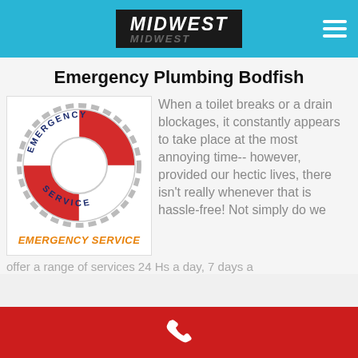MIDWEST
Emergency Plumbing Bodfish
[Figure (illustration): Life ring / life preserver illustration with text 'Emergency Service' written on it in dark blue letters, red and white sections. Below the ring in orange italic text reads 'Emergency Service']
When a toilet breaks or a drain blockages, it constantly appears to take place at the most annoying time-- however, provided our hectic lives, there isn't really whenever that is hassle-free! Not simply do we offer a range of services 24 Hs a day, 7 days a